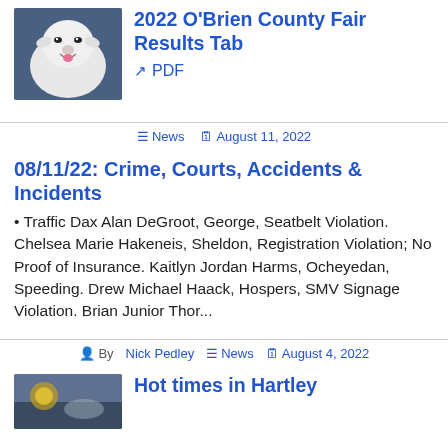[Figure (photo): Photo of a white goat facing camera, smiling, held by a person in jeans]
2022 O'Brien County Fair Results Tab
↗ PDF
≡ News  🗓 August 11, 2022
08/11/22: Crime, Courts, Accidents & Incidents
• Traffic Dax Alan DeGroot, George, Seatbelt Violation. Chelsea Marie Hakeneis, Sheldon, Registration Violation; No Proof of Insurance. Kaitlyn Jordan Harms, Ocheyedan, Speeding. Drew Michael Haack, Hospers, SMV Signage Violation. Brian Junior Thor...
By Nick Pedley  ≡ News  🗓 August 4, 2022
[Figure (photo): Photo related to Hot times in Hartley story]
Hot times in Hartley